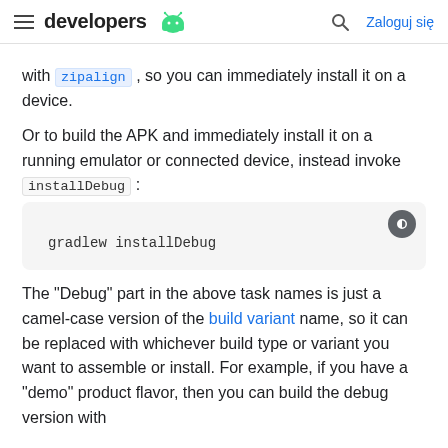developers [Android logo] | Search | Zaloguj się
with zipalign , so you can immediately install it on a device.
Or to build the APK and immediately install it on a running emulator or connected device, instead invoke installDebug :
gradlew installDebug
The "Debug" part in the above task names is just a camel-case version of the build variant name, so it can be replaced with whichever build type or variant you want to assemble or install. For example, if you have a "demo" product flavor, then you can build the debug version with the...